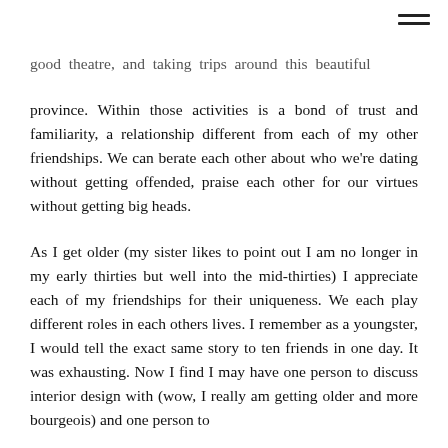good theatre, and taking trips around this beautiful province. Within those activities is a bond of trust and familiarity, a relationship different from each of my other friendships. We can berate each other about who we're dating without getting offended, praise each other for our virtues without getting big heads.
As I get older (my sister likes to point out I am no longer in my early thirties but well into the mid-thirties) I appreciate each of my friendships for their uniqueness. We each play different roles in each others lives. I remember as a youngster, I would tell the exact same story to ten friends in one day. It was exhausting. Now I find I may have one person to discuss interior design with (wow, I really am getting older and more bourgeois) and one person to